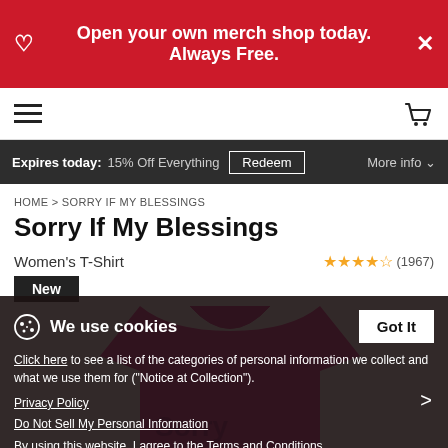Open your own merch shop today. Always Free.
Expires today: 15% Off Everything Redeem More info
HOME > SORRY IF MY BLESSINGS
Sorry If My Blessings
Women's T-Shirt
(1967)
New
[Figure (photo): Pink women's t-shirt with text on front, shown on white background]
We use cookies
Click here to see a list of the categories of personal information we collect and what we use them for ("Notice at Collection").
Privacy Policy
Do Not Sell My Personal Information
By using this website, I agree to the Terms and Conditions